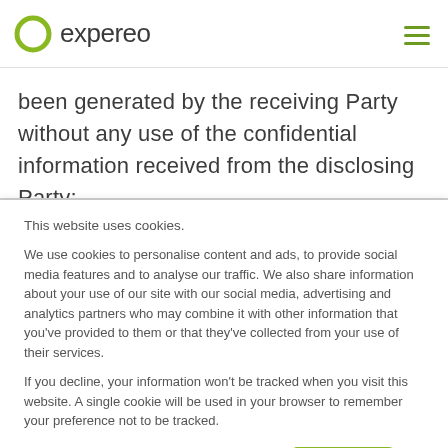expereo
been generated by the receiving Party without any use of the confidential information received from the disclosing Party;
This website uses cookies.
We use cookies to personalise content and ads, to provide social media features and to analyse our traffic. We also share information about your use of our site with our social media, advertising and analytics partners who may combine it with other information that you've provided to them or that they've collected from your use of their services.
If you decline, your information won't be tracked when you visit this website. A single cookie will be used in your browser to remember your preference not to be tracked.